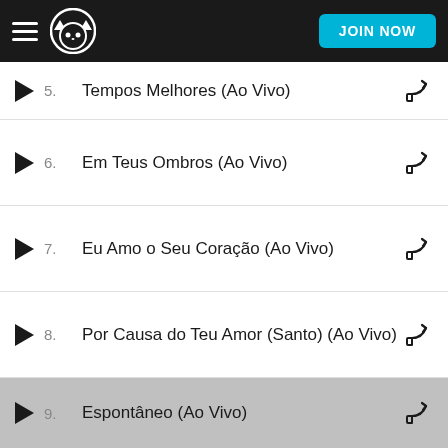Napster – JOIN NOW
5. Tempos Melhores (Ao Vivo)
6. Em Teus Ombros (Ao Vivo)
7. Eu Amo o Seu Coração (Ao Vivo)
8. Por Causa do Teu Amor (Santo) (Ao Vivo)
9. Espontâneo (Ao Vivo)